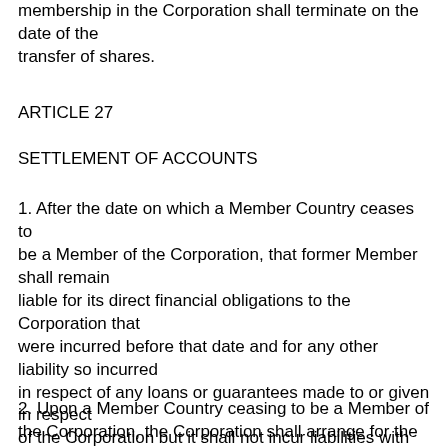membership in the Corporation shall terminate on the date of the transfer of shares.
ARTICLE 27
SETTLEMENT OF ACCOUNTS
1. After the date on which a Member Country ceases to be a Member of the Corporation, that former Member shall remain liable for its direct financial obligations to the Corporation that were incurred before that date and for any other liability so incurred in respect of any loans or guarantees made to or given in respect of the Corporation but it shall not incur liabilities with respect to loans and guarantees entered into thereafter by the Corporation or share either in the income or the expenses of the Corporation.
2. Upon a Member Country ceasing to be a Member of the Corporation, the Corporation shall arrange for the